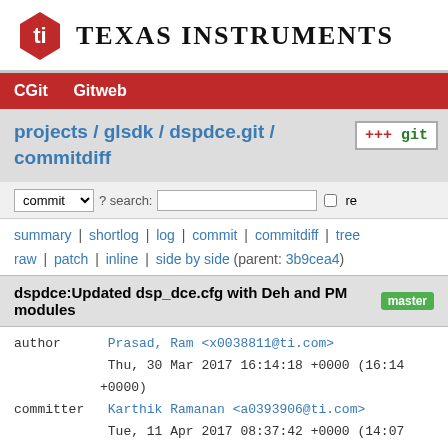[Figure (logo): Texas Instruments logo with red TI symbol and bold uppercase text 'TEXAS INSTRUMENTS']
CGit   Gitweb
projects / glsdk / dspdce.git / commitdiff
commit ? search: [ ] re
summary | shortlog | log | commit | commitdiff | tree
raw | patch | inline | side by side (parent: 3b9cea4)
dspdce:Updated dsp_dce.cfg with Deh and PM modules master
author    Prasad, Ram <x0038811@ti.com>
          Thu, 30 Mar 2017 16:14:18 +0000 (16:14 +0000)
committer Karthik Ramanan <a0393906@ti.com>
          Tue, 11 Apr 2017 08:37:42 +0000 (14:07 +0530)
DEH and Powermanagement modules are enabled